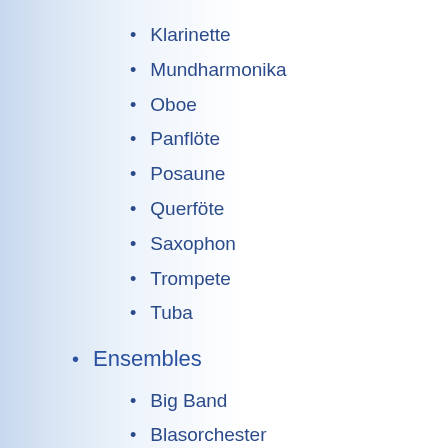Klarinette
Mundharmonika
Oboe
Panflöte
Posaune
Querföte
Saxophon
Trompete
Tuba
Ensembles
Big Band
Blasorchester